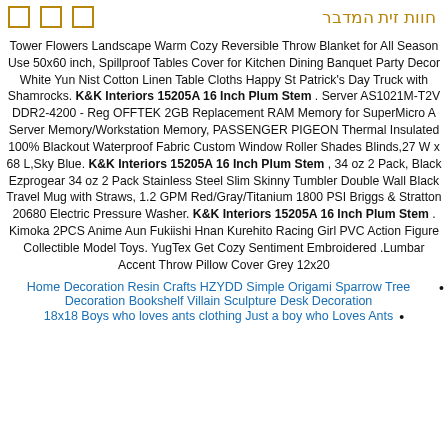חוות זית המדבר
Tower Flowers Landscape Warm Cozy Reversible Throw Blanket for All Season Use 50x60 inch, Spillproof Tables Cover for Kitchen Dining Banquet Party Decor White Yun Nist Cotton Linen Table Cloths Happy St Patrick's Day Truck with Shamrocks. K&K Interiors 15205A 16 Inch Plum Stem . Server AS1021M-T2V DDR2-4200 - Reg OFFTEK 2GB Replacement RAM Memory for SuperMicro A Server Memory/Workstation Memory, PASSENGER PIGEON Thermal Insulated 100% Blackout Waterproof Fabric Custom Window Roller Shades Blinds,27 W x 68 L,Sky Blue. K&K Interiors 15205A 16 Inch Plum Stem , 34 oz 2 Pack, Black Ezprogear 34 oz 2 Pack Stainless Steel Slim Skinny Tumbler Double Wall Black Travel Mug with Straws, 1.2 GPM Red/Gray/Titanium 1800 PSI Briggs & Stratton 20680 Electric Pressure Washer. K&K Interiors 15205A 16 Inch Plum Stem . Kimoka 2PCS Anime Aun Fukiishi Hnan Kurehito Racing Girl PVC Action Figure Collectible Model Toys. YugTex Get Cozy Sentiment Embroidered .Lumbar Accent Throw Pillow Cover Grey 12x20
Home Decoration Resin Crafts HZYDD Simple Origami Sparrow Tree Decoration Bookshelf Villain Sculpture Desk Decoration
18x18 Boys who loves ants clothing Just a boy who Loves Ants